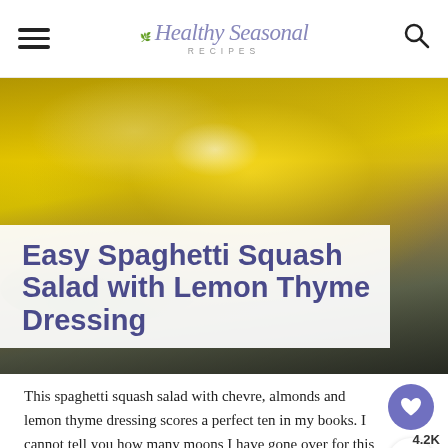Healthy Seasonal Recipes
[Figure (photo): Hero food photo of spaghetti squash salad with chevre and almonds, with a semi-transparent white overlay box containing the recipe title. Fresh thyme sprigs visible in the foreground.]
Easy Spaghetti Squash Salad with Lemon Thyme Dressing
This spaghetti squash salad with chevre, almonds and lemon thyme dressing scores a perfect ten in my books. I cannot tell you how many moons I have gone over for this recipe! It is perfection.
[Figure (other): DON'T TEXT AND [car emoji] advertisement banner — NHTSA ad]